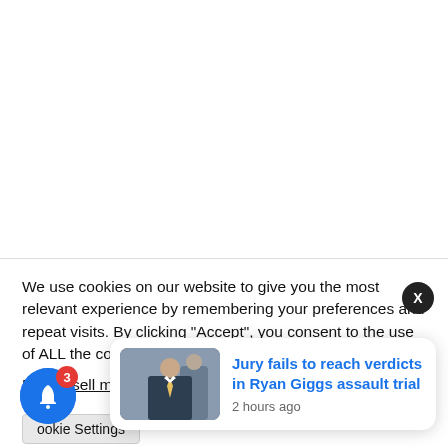[Figure (screenshot): White blank area at top of page, representing empty webpage content]
We use cookies on our website to give you the most relevant experience by remembering your preferences and repeat visits. By clicking “Accept”, you consent to the use of ALL the cookies.
Do not sell my p[ersonal information]
ookie Settings
[Figure (screenshot): News notification card showing thumbnail photo of men in suits with headline: Jury fails to reach verdicts in Ryan Giggs assault trial, 2 hours ago]
Jury fails to reach verdicts in Ryan Giggs assault trial
2 hours ago